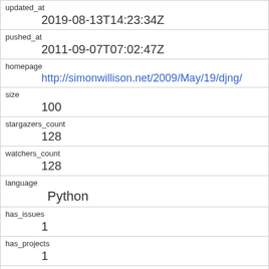| updated_at | 2019-08-13T14:23:34Z |
| pushed_at | 2011-09-07T07:02:47Z |
| homepage | http://simonwillison.net/2009/May/19/djng/ |
| size | 100 |
| stargazers_count | 128 |
| watchers_count | 128 |
| language | Python |
| has_issues | 1 |
| has_projects | 1 |
| has_downloads | 1 |